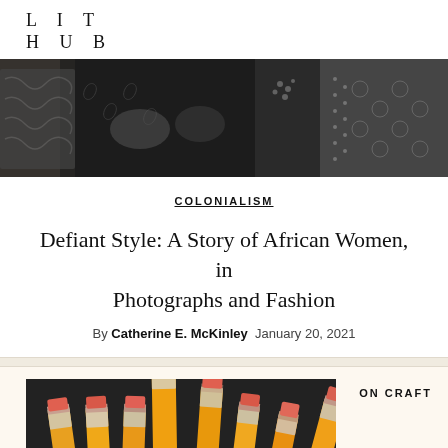LIT HUB
[Figure (photo): Black and white photograph showing African women in traditional patterned clothing and jewelry, close-up of torsos and hands]
COLONIALISM
Defiant Style: A Story of African Women, in Photographs and Fashion
By Catherine E. McKinley  January 20, 2021
ON CRAFT
[Figure (photo): Close-up photograph of multiple yellow pencils with pink erasers standing upright against a dark background]